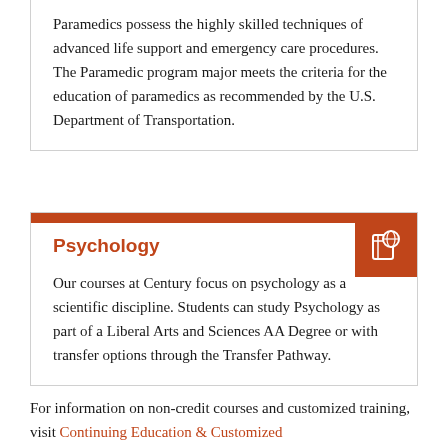Paramedics possess the highly skilled techniques of advanced life support and emergency care procedures. The Paramedic program major meets the criteria for the education of paramedics as recommended by the U.S. Department of Transportation.
Psychology
Our courses at Century focus on psychology as a scientific discipline. Students can study Psychology as part of a Liberal Arts and Sciences AA Degree or with transfer options through the Transfer Pathway.
For information on non-credit courses and customized training, visit Continuing Education & Customized